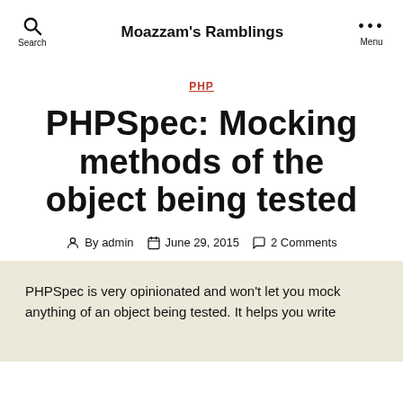Moazzam's Ramblings
PHP
PHPSpec: Mocking methods of the object being tested
By admin  June 29, 2015  2 Comments
PHPSpec is very opinionated and won't let you mock anything of an object being tested. It helps you write